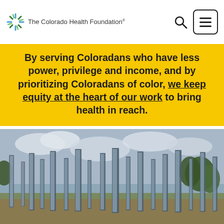The Colorado Health Foundation
By serving Coloradans who have less power, privilege and income, and by prioritizing Coloradans of color, we keep equity at the heart of our work to bring health in reach.
[Figure (photo): Outdoor art installation with tall reflective mirror panels standing in a field near a waterway, reflecting sky and trees.]